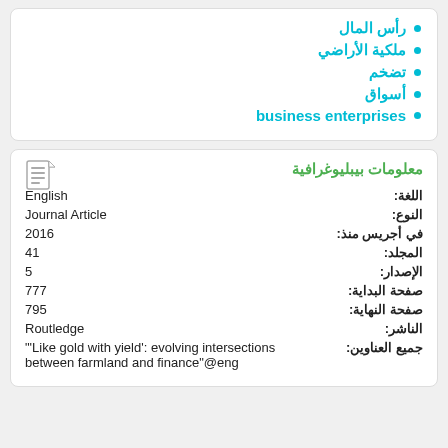رأس المال
ملكية الأراضي
تضخم
أسواق
business enterprises
معلومات بيبليوغرافية
| Field | Value |
| --- | --- |
| اللغة: | English |
| النوع: | Journal Article |
| في أجريس منذ: | 2016 |
| المجلد: | 41 |
| الإصدار: | 5 |
| صفحة البداية: | 777 |
| صفحة النهاية: | 795 |
| الناشر: | Routledge |
| جميع العناوين: | 'Like gold with yield': evolving intersections between farmland and finance"@eng |